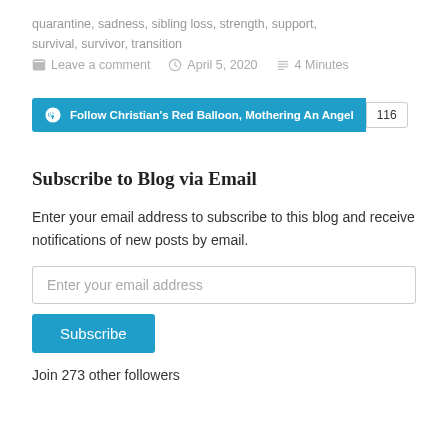quarantine, sadness, sibling loss, strength, support, survival, survivor, transition
Leave a comment   April 5, 2020   4 Minutes
[Figure (other): WordPress Follow button bar for 'Christian's Red Balloon, Mothering An Angel' with follower count 116]
Subscribe to Blog via Email
Enter your email address to subscribe to this blog and receive notifications of new posts by email.
Enter your email address
Subscribe
Join 273 other followers